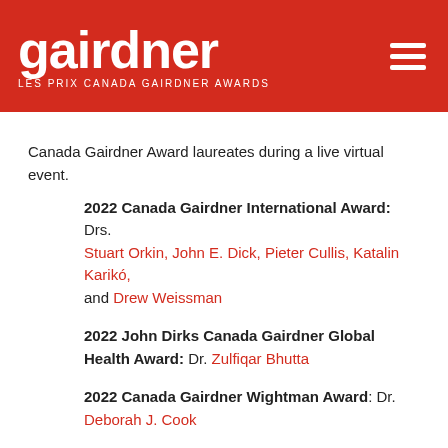gairdner LES PRIX CANADA GAIRDNER AWARDS
Canada Gairdner Award laureates during a live virtual event.
2022 Canada Gairdner International Award: Drs. Stuart Orkin, John E. Dick, Pieter Cullis, Katalin Karikó, and Drew Weissman
2022 John Dirks Canada Gairdner Global Health Award: Dr. Zulfiqar Bhutta
2022 Canada Gairdner Wightman Award: Dr. Deborah J. Cook
As part of the event, Gairdner President and Scientific Director Dr. Janet Rossant sat down with the seven laureates to talk about their careers, what trials and tribulations they faced along the way, and their future endeavors in global health.